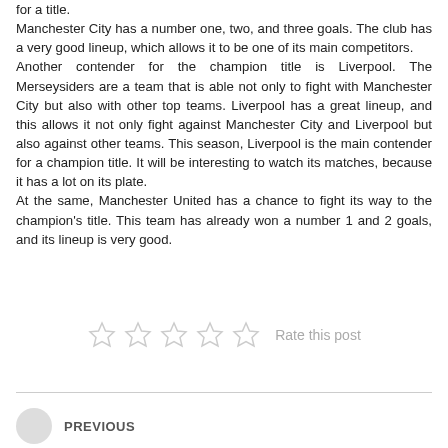for a title. Manchester City has a number one, two, and three goals. The club has a very good lineup, which allows it to be one of its main competitors. Another contender for the champion title is Liverpool. The Merseysiders are a team that is able not only to fight with Manchester City but also with other top teams. Liverpool has a great lineup, and this allows it not only fight against Manchester City and Liverpool but also against other teams. This season, Liverpool is the main contender for a champion title. It will be interesting to watch its matches, because it has a lot on its plate. At the same, Manchester United has a chance to fight its way to the champion's title. This team has already won a number 1 and 2 goals, and its lineup is very good.
[Figure (other): Five empty star rating icons with 'Rate this post' label]
PREVIOUS